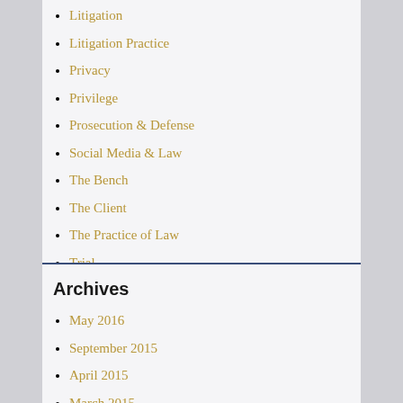Litigation
Litigation Practice
Privacy
Privilege
Prosecution & Defense
Social Media & Law
The Bench
The Client
The Practice of Law
Trial
Uncategorized
Archives
May 2016
September 2015
April 2015
March 2015
December 2014
November 2014